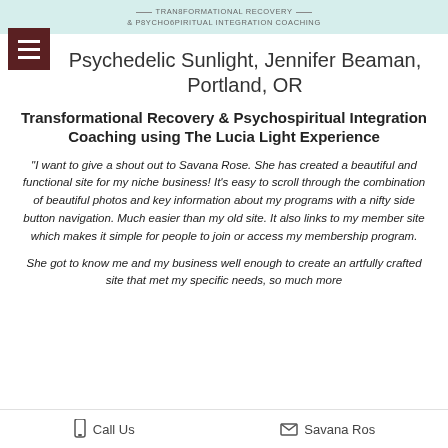TRANSFORMATIONAL RECOVERY & PSYCHOSPIRITUAL INTEGRATION COACHING
Psychedelic Sunlight, Jennifer Beaman, Portland, OR
Transformational Recovery & Psychospiritual Integration Coaching using The Lucia Light Experience
"I want to give a shout out to Savana Rose. She has created a beautiful and functional site for my niche business! It's easy to scroll through the combination of beautiful photos and key information about my programs with a nifty side button navigation. Much easier than my old site. It also links to my member site which makes it simple for people to join or access my membership program.
She got to know me and my business well enough to create an artfully crafted site that met my specific needs, so much more
Call Us   Savana Ros